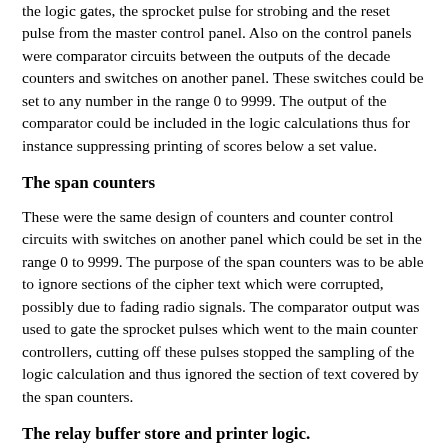the logic gates, the sprocket pulse for strobing and the reset pulse from the master control panel. Also on the control panels were comparator circuits between the outputs of the decade counters and switches on another panel. These switches could be set to any number in the range 0 to 9999. The output of the comparator could be included in the logic calculations thus for instance suppressing printing of scores below a set value.
The span counters
These were the same design of counters and counter control circuits with switches on another panel which could be set in the range 0 to 9999. The purpose of the span counters was to be able to ignore sections of the cipher text which were corrupted, possibly due to fading radio signals. The comparator output was used to gate the sprocket pulses which went to the main counter controllers, cutting off these pulses stopped the sampling of the logic calculation and thus ignored the section of text covered by the span counters.
The relay buffer store and printer logic.
Latching relays held the ending count on the decade counters. The start positions of the thyratron rings and the count for the previous